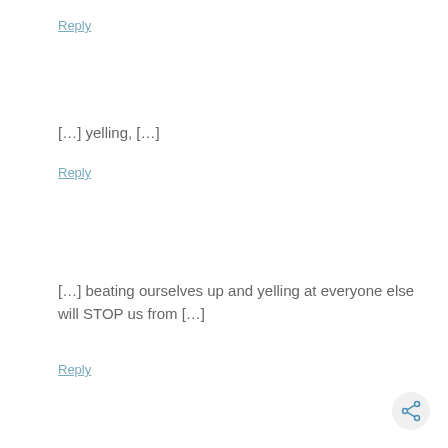Reply
[…] yelling, […]
Reply
[…] beating ourselves up and yelling at everyone else will STOP us from […]
Reply